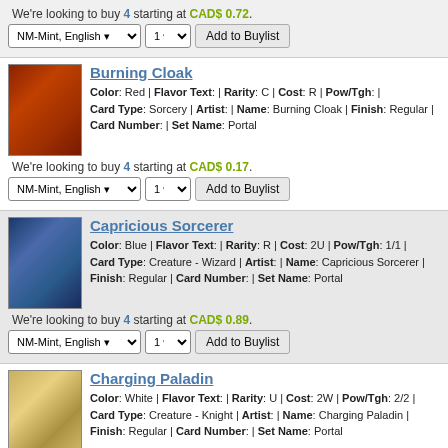We're looking to buy 4 starting at CAD$ 0.72.
NM-Mint, English | 1 | Add to Buylist
Burning Cloak
Color: Red | Flavor Text: | Rarity: C | Cost: R | Pow/Tgh: | Card Type: Sorcery | Artist: | Name: Burning Cloak | Finish: Regular | Card Number: | Set Name: Portal
We're looking to buy 4 starting at CAD$ 0.17.
NM-Mint, English | 1 | Add to Buylist
Capricious Sorcerer
Color: Blue | Flavor Text: | Rarity: R | Cost: 2U | Pow/Tgh: 1/1 | Card Type: Creature - Wizard | Artist: | Name: Capricious Sorcerer | Finish: Regular | Card Number: | Set Name: Portal
We're looking to buy 4 starting at CAD$ 0.89.
NM-Mint, English | 1 | Add to Buylist
Charging Paladin
Color: White | Flavor Text: | Rarity: U | Cost: 2W | Pow/Tgh: 2/2 | Card Type: Creature - Knight | Artist: | Name: Charging Paladin | Finish: Regular | Card Number: | Set Name: Portal
We're looking to buy 1 starting at CAD$ 0.20.
NM-Mint, English | 1 | Add to Buylist
Charging Rhino
Color: Green | Flavor Text: | Rarity: R | Cost: 3GG | Pow/Tgh: 4/4 |